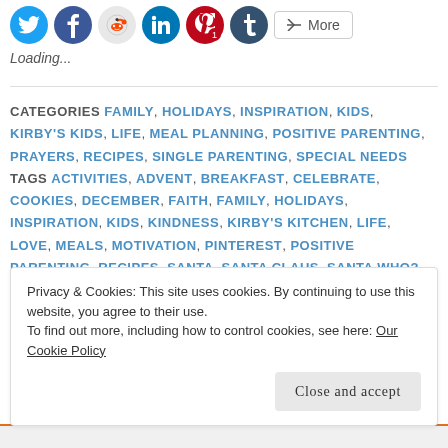[Figure (other): Social sharing icons: Twitter (blue), Facebook (blue), Reddit (gray), LinkedIn (blue), Pinterest (red with badge 1), Tumblr (dark blue), and a More button]
Loading...
CATEGORIES FAMILY, HOLIDAYS, INSPIRATION, KIDS, KIRBY'S KIDS, LIFE, MEAL PLANNING, POSITIVE PARENTING, PRAYERS, RECIPES, SINGLE PARENTING, SPECIAL NEEDS TAGS ACTIVITIES, ADVENT, BREAKFAST, CELEBRATE, COOKIES, DECEMBER, FAITH, FAMILY, HOLIDAYS, INSPIRATION, KIDS, KINDNESS, KIRBY'S KITCHEN, LIFE, LOVE, MEALS, MOTIVATION, PINTEREST, POSITIVE PARENTING, RECIPES, SANTA, SANTA CLAUS, SANTA WHO?
Privacy & Cookies: This site uses cookies. By continuing to use this website, you agree to their use. To find out more, including how to control cookies, see here: Our Cookie Policy
Close and accept